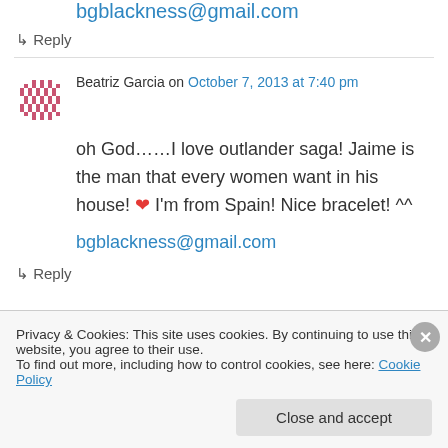bgblackness@gmail.com
↳ Reply
Beatriz Garcia on October 7, 2013 at 7:40 pm
oh God……I love outlander saga! Jaime is the man that every women want in his house! ❤ I'm from Spain! Nice bracelet! ^^
bgblackness@gmail.com
↳ Reply
Privacy & Cookies: This site uses cookies. By continuing to use this website, you agree to their use. To find out more, including how to control cookies, see here: Cookie Policy
Close and accept